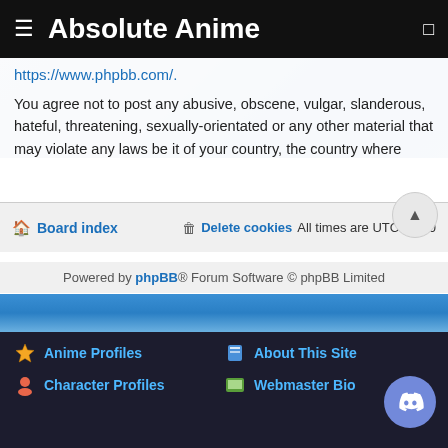Absolute Anime
https://www.phpbb.com/.
You agree not to post any abusive, obscene, vulgar, slanderous, hateful, threatening, sexually-orientated or any other material that may violate any laws be it of your country, the country where “Absolute Anime” is hosted or International Law. Doing so may lead to you being immediately and permanently banned, with notification of your Internet Service Provider if deemed required by us. The IP address of all posts are recorded to aid in enforcing these conditions. You agree that “Absolute Anime” have the right to remove, edit, move or close any topic at any time should we see fit. As a user you agree to any information you have entered to being stored in a database. While this information will not be disclosed to any third party without your consent, neither “Absolute Anime” nor phpBB shall be held responsible for any hacking attempt that may lead to the data being compromised.
Board index   Delete cookies   All times are UTC-07:00
Powered by phpBB® Forum Software © phpBB Limited
Anime Profiles
About This Site
Character Profiles
Webmaster Bio